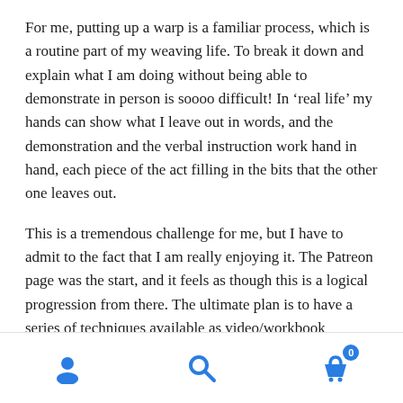For me, putting up a warp is a familiar process, which is a routine part of my weaving life. To break it down and explain what I am doing without being able to demonstrate in person is soooo difficult! In ‘real life’ my hands can show what I leave out in words, and the demonstration and the verbal instruction work hand in hand, each piece of the act filling in the bits that the other one leaves out.
This is a tremendous challenge for me, but I have to admit to the fact that I am really enjoying it. The Patreon page was the start, and it feels as though this is a logical progression from there. The ultimate plan is to have a series of techniques available as video/workbook courses.
Navigation bar with user, search, and cart icons